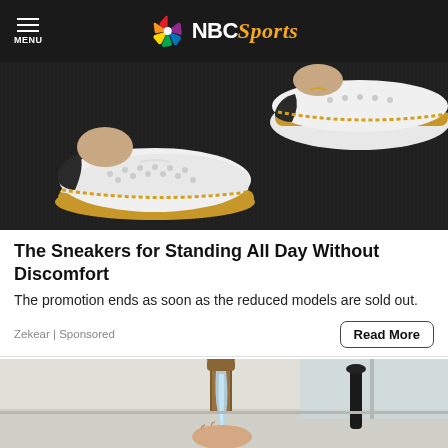NBC Sports
[Figure (photo): Close-up photo of white perforated sneakers with tan/gold stitched sole on dark carpet]
The Sneakers for Standing All Day Without Discomfort
The promotion ends as soon as the reduced models are sold out.
Zekear | Sponsored
[Figure (photo): Photo of a hand under a running faucet with a bronze/gold modern tap fixture, kitchen setting]